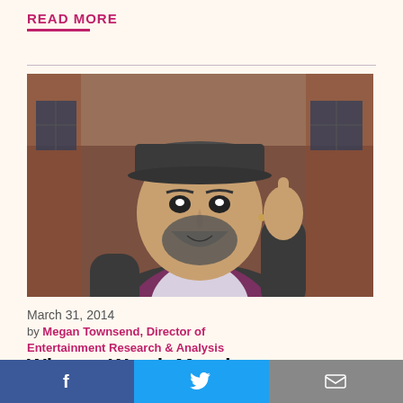READ MORE
[Figure (illustration): Animated illustration of a large heavyset man with a beard and baseball cap, raising one finger, wearing a dark jacket over a white shirt, standing in front of a brick wall backdrop]
March 31, 2014
by Megan Townsend, Director of Entertainment Research & Analysis
What to Watch Monday 3/31: ‘Chozen’ season finale
Tonight catch the season finale of Chozen